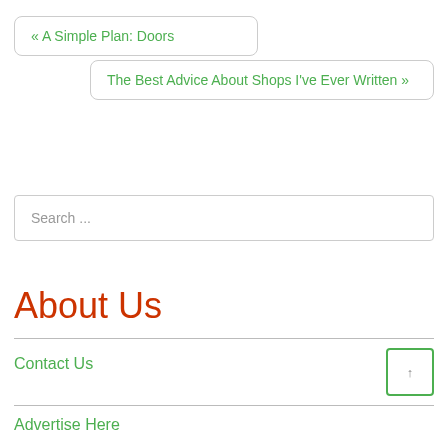« A Simple Plan: Doors
The Best Advice About Shops I've Ever Written »
Search ...
About Us
Contact Us
↑
Advertise Here